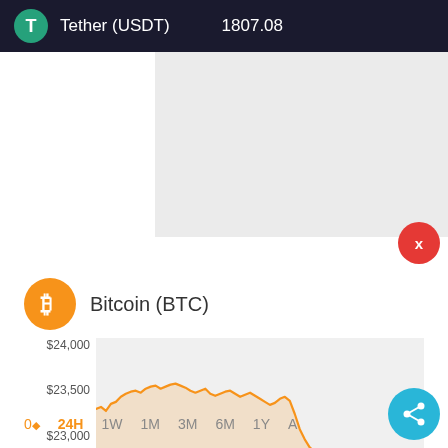Tether (USDT)  1807.08
[Figure (screenshot): Gray placeholder box (advertisement or image area)]
Bitcoin (BTC)
[Figure (line-chart): Bitcoin (BTC) price chart - 24H]
0⬩  24H  1W  1M  3M  6M  1Y  A